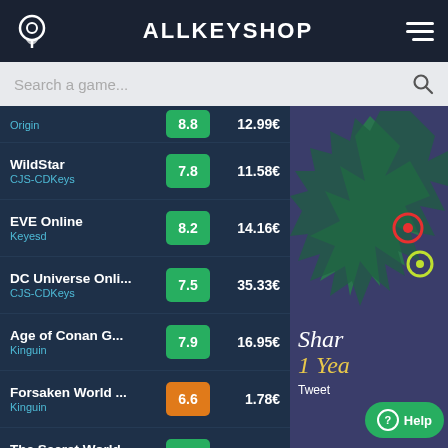ALLKEYSHOP
Search a game...
| Game | Store | Rating | Price |
| --- | --- | --- | --- |
|  | Origin | 8.8 | 12.99€ |
| WildStar | CJS-CDKeys | 7.8 | 11.58€ |
| EVE Online | Keyesd | 8.2 | 14.16€ |
| DC Universe Onli... | CJS-CDKeys | 7.5 | 35.33€ |
| Age of Conan G... | Kinguin | 7.9 | 16.95€ |
| Forsaken World ... | Kinguin | 6.6 | 1.78€ |
| The Secret World | CJS-CDKeys | 7.9 | 31.76€ |
| World of Tanks | CJS-CDKeys | 7.8 | 1.15€ |
[Figure (screenshot): Game advertisement image with green decorative shapes on purple background, showing text 'Shar' and '1 Yea' (truncated), with a Tweet label and Help button overlay]
Help